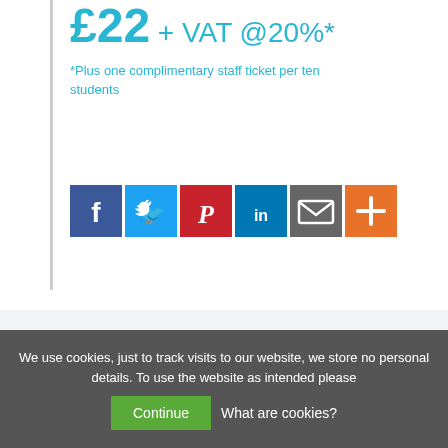£22 + VAT @20%*
*Plus one complimentary staff ticket per ten students
[Figure (other): Social share buttons: Facebook, Twitter, Pinterest, LinkedIn, Email, More]
About this day
For A-level and IB students
Give your KS5 students the opportunity to meet our crack team of mathematicians, engineers,
We use cookies, just to track visits to our website, we store no personal details. To use the website as intended please Continue What are cookies?